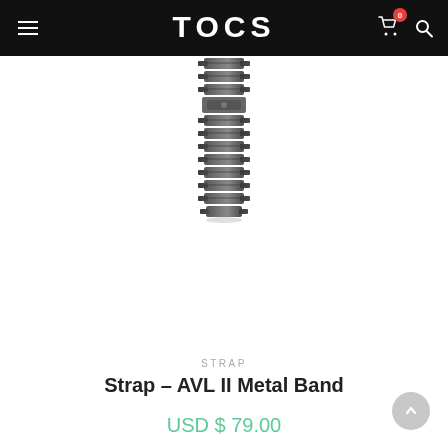TOCS — Navigation header with hamburger menu, cart (0 items), and search icon
[Figure (photo): A dark gunmetal/grey metal watch bracelet strap (AVL II Metal Band) photographed vertically on a white background, showing interlocking oyster-style metal links.]
STRAP
Strap – AVL II Metal Band
USD $ 79.00